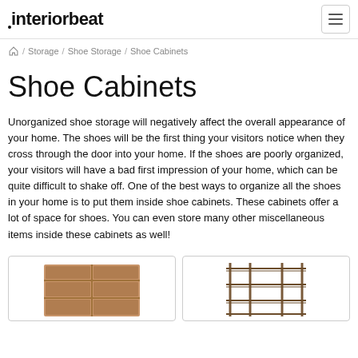interiorbeat
/ Storage / Shoe Storage / Shoe Cabinets
Shoe Cabinets
Unorganized shoe storage will negatively affect the overall appearance of your home. The shoes will be the first thing your visitors notice when they cross through the door into your home. If the shoes are poorly organized, your visitors will have a bad first impression of your home, which can be quite difficult to shake off. One of the best ways to organize all the shoes in your home is to put them inside shoe cabinets. These cabinets offer a lot of space for shoes. You can even store many other miscellaneous items inside these cabinets as well!
[Figure (photo): Wooden shoe cabinet with cubby compartments]
[Figure (photo): Metal wire shoe rack with multiple tiers]